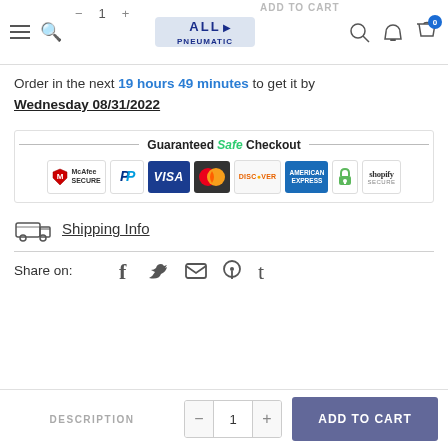All Pneumatic - navigation header with logo, hamburger menu, search, account, cart
Order in the next 19 hours 49 minutes to get it by Wednesday 08/31/2022
[Figure (infographic): Guaranteed Safe Checkout banner with payment icons: McAfee SECURE, PayPal, VISA, Mastercard, Discover, American Express, secure lock, shopify SECURE]
Shipping Info
Share on:
DESCRIPTION | quantity controls | ADD TO CART button